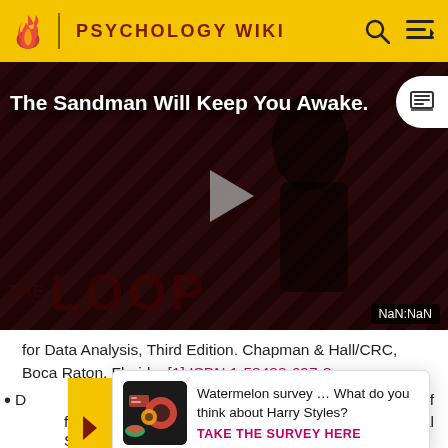PSYCHOLOGY WIKI
[Figure (screenshot): Video thumbnail for 'The Sandman Will Keep You Awake - The Loop' with a dark figure on a striped background and a play button overlay. Shows NaN:NaN timestamp.]
for Data Analysis, Third Edition. Chapman & Hall/CRC, Boca Raton, Florida. [1] ISBN 1-58488-697-8.
...is of...yal...S
[Figure (screenshot): Watermelon survey popup: 'Watermelon survey … What do you think about Harry Styles? TAKE THE SURVEY HERE']